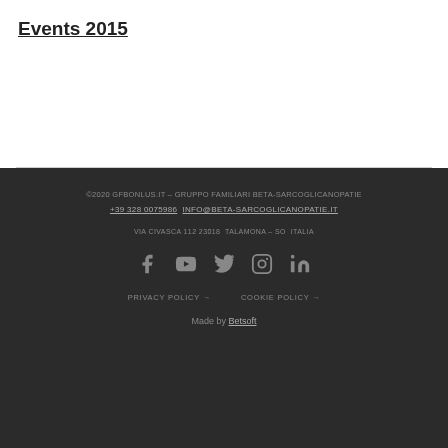Events 2015
©2020 GFBONLUS.IT – GRUPPO FAMILIARI BETA-SARCOGLICANOPATIE
+39 328 0075986 INFO@BETA-SARCOGLICANOPATIE.IT
VIA CIVASCA 112 23018 TALAMONA – SO  ITALIA
PRIVACY POLICY →  COOKIE POLICY →
Made by Betsoft